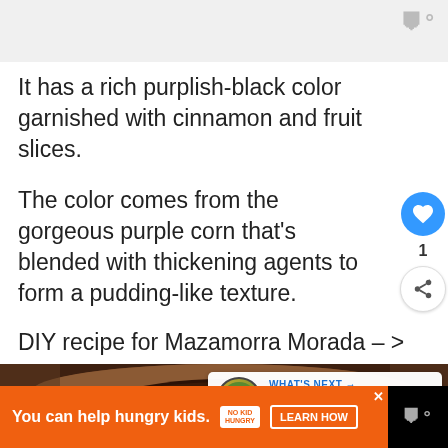w°
It has a rich purplish-black color garnished with cinnamon and fruit slices.
The color comes from the gorgeous purple corn that's blended with thickening agents to form a pudding-like texture.
DIY recipe for Mazamorra Morada – >
[Figure (photo): Close-up photo of a dark bowl containing Mazamorra Morada, a purplish-brown pudding with visible cinnamon powder and red berries on top. A 'What's Next' overlay in top-right corner shows '29 Super Delicious Th...']
[Figure (infographic): Advertisement bar: orange background with text 'You can help hungry kids.' No Kid Hungry logo and 'LEARN HOW' button]